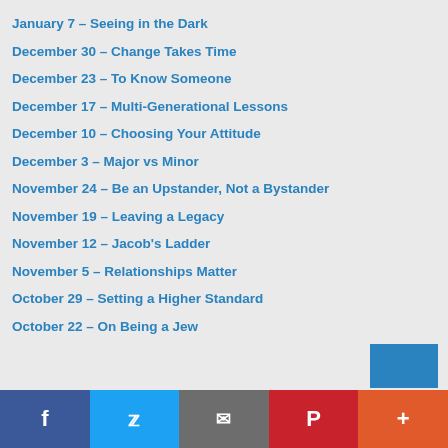January 7 – Seeing in the Dark
December 30 – Change Takes Time
December 23 – To Know Someone
December 17 – Multi-Generational Lessons
December 10 – Choosing Your Attitude
December 3 – Major vs Minor
November 24 – Be an Upstander, Not a Bystander
November 19 – Leaving a Legacy
November 12 – Jacob's Ladder
November 5 – Relationships Matter
October 29 – Setting a Higher Standard
October 22 – On Being a Jew